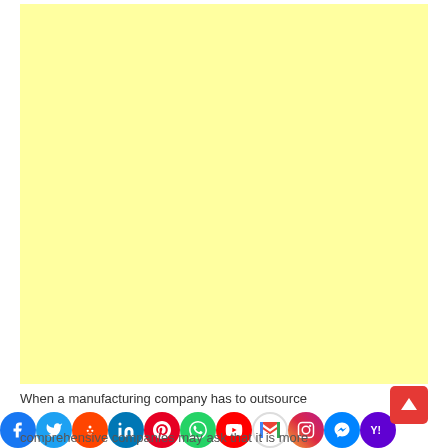[Figure (other): Large yellow/cream colored blank rectangle, likely an advertisement placeholder]
When a manufacturing company has to outsource
[Figure (infographic): Social media sharing bar with icons: Facebook (blue), Twitter (cyan), Reddit (orange-red), LinkedIn (blue), Pinterest (red), WhatsApp (green), YouTube (red), Gmail (red/white), Instagram (pink/purple), Messenger (blue), Yahoo (purple). Also a red scroll-up button with up arrow.]
comprehensive companies may ask that it is more